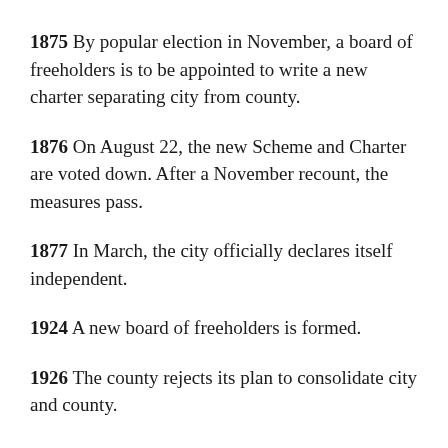1875 By popular election in November, a board of freeholders is to be appointed to write a new charter separating city from county.
1876 On August 22, the new Scheme and Charter are voted down. After a November recount, the measures pass.
1877 In March, the city officially declares itself independent.
1924 A new board of freeholders is formed.
1926 The county rejects its plan to consolidate city and county.